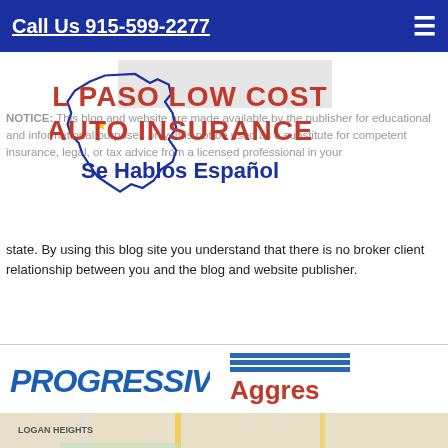Call Us 915-599-2277
[Figure (logo): El Paso Low Cost Auto Insurance logo with Texas state outline in blue and red text reading EL PASO LOW COST AUTO INSURANCE and Se Hablos Español]
NOTICE: This blog and website are made available by the publisher for educational and informational purposes only. It is not be used as a substitute for competent insurance, legal, or tax advice from a licensed professional in your state. By using this blog site you understand that there is no broker client relationship between you and the blog and website publisher.
[Figure (logo): Progressive insurance logo in blue italic text]
[Figure (logo): Agress insurance logo partially visible with blue horizontal stripes above red text]
[Figure (map): Google map showing El Paso area including Fort Bliss, Logan Heights, El Paso International Airport, El Dorado East, Eastview neighborhoods with route 62 and 478 markers]
f  Twitter  in  Email  +